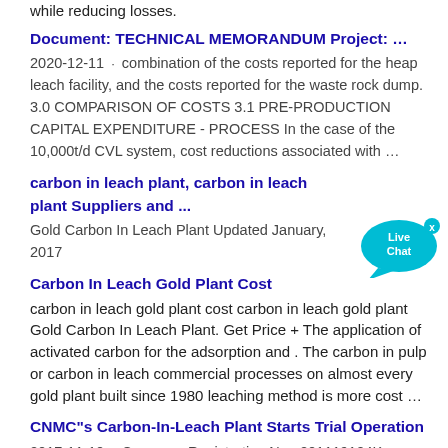while reducing losses.
Document: TECHNICAL MEMORANDUM Project: … 2020-12-11 · combination of the costs reported for the heap leach facility, and the costs reported for the waste rock dump. 3.0 COMPARISON OF COSTS 3.1 PRE-PRODUCTION CAPITAL EXPENDITURE - PROCESS In the case of the 10,000t/d CVL system, cost reductions associated with …
carbon in leach plant, carbon in leach plant Suppliers and ... Gold Carbon In Leach Plant Updated January, 2017
Carbon In Leach Gold Plant Cost carbon in leach gold plant cost carbon in leach gold plant Gold Carbon In Leach Plant. Get Price + The application of activated carbon for the adsorption and . The carbon in pulp or carbon in leach commercial processes on almost every gold plant built since 1980 leaching method is more cost …
CNMC"s Carbon-In-Leach Plant Starts Trial Operation 2017-11-10 · Company Registration No.: 201119104K CNMC"s Carbon-In-Leach Plant Starts Trial Operation New plant to reverse production decline of past four quarters caused by low ore grades All-in production costs expected to decline from 4Q2017 US$ 3Q2017 2Q2017 Change (%) 3Q2017 3Q2016 Change (%) Revenue 4,706,428 4,859,680 (3.2)
[Figure (illustration): Live Chat button widget - a teal/cyan speech bubble icon with 'Live Chat' text and a small 'x' close button in the top right corner.]